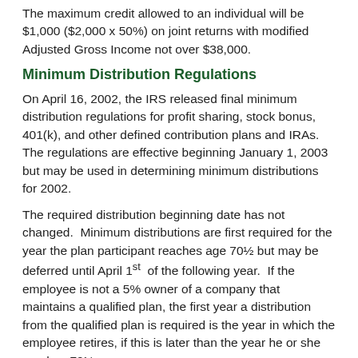The maximum credit allowed to an individual will be $1,000 ($2,000 x 50%) on joint returns with modified Adjusted Gross Income not over $38,000.
Minimum Distribution Regulations
On April 16, 2002, the IRS released final minimum distribution regulations for profit sharing, stock bonus, 401(k), and other defined contribution plans and IRAs.  The regulations are effective beginning January 1, 2003 but may be used in determining minimum distributions for 2002.
The required distribution beginning date has not changed.  Minimum distributions are first required for the year the plan participant reaches age 70½ but may be deferred until April 1st of the following year.  If the employee is not a 5% owner of a company that maintains a qualified plan, the first year a distribution from the qualified plan is required is the year in which the employee retires, if this is later than the year he or she reaches 70½.
The amount to be taken as a minimum distribution is the balance on December 31st of the prior year divided by a divisor, which